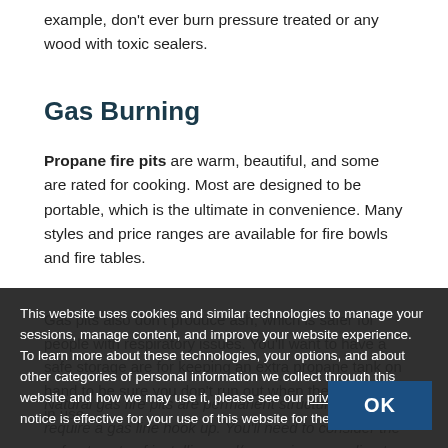example, don't ever burn pressure treated or any wood with toxic sealers.
Gas Burning
Propane fire pits are warm, beautiful, and some are rated for cooking. Most are designed to be portable, which is the ultimate in convenience. Many styles and price ranges are available for fire bowls and fire tables.
Gas pits also don't produce ash, which is safer for people with respiratory issues. You'll want to have a safe storage are for keeping an extra propane tank on hand to be sure you don't run out when the fire pit is in use.
Natural gas fire pits are permanent structures that require a gas line hook up. You'll need to consider the upfront costs of installing and/or running a gas line to
This website uses cookies and similar technologies to manage your sessions, manage content, and improve your website experience. To learn more about these technologies, your options, and about other categories of personal information we collect through this website and how we may use it, please see our privacy policy. This notice is effective for your use of this website for the next 14 days.